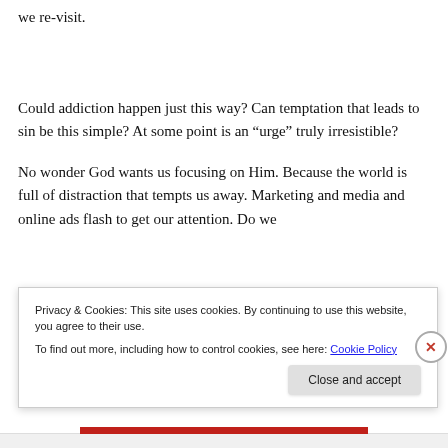we re-visit.
Could addiction happen just this way? Can temptation that leads to sin be this simple? At some point is an “urge” truly irresistible?
No wonder God wants us focusing on Him. Because the world is full of distraction that tempts us away. Marketing and media and online ads flash to get our attention. Do we
Privacy & Cookies: This site uses cookies. By continuing to use this website, you agree to their use.
To find out more, including how to control cookies, see here: Cookie Policy
Close and accept